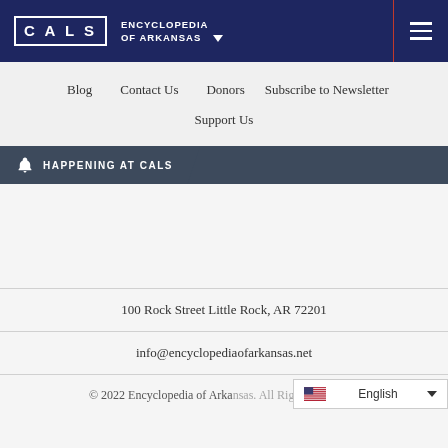CALS ENCYCLOPEDIA OF ARKANSAS
Blog   Contact Us   Donors   Subscribe to Newsletter
Support Us
HAPPENING AT CALS
100 Rock Street Little Rock, AR 72201
info@encyclopediaofarkansas.net
© 2022 Encyclopedia of Arkansas. All Rights Reserved.
English